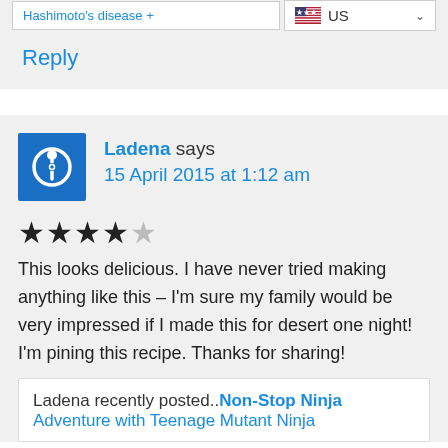Hashimoto's disease +
US
Reply
Ladena says
15 April 2015 at 1:12 am
★★★★☆ This looks delicious. I have never tried making anything like this – I'm sure my family would be very impressed if I made this for desert one night! I'm pining this recipe. Thanks for sharing!
Ladena recently posted..Non-Stop Ninja Adventure with Teenage Mutant Ninja